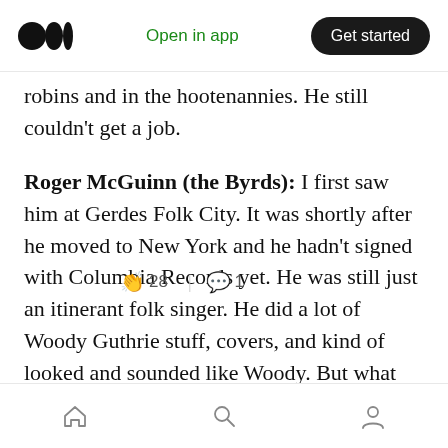Medium app header — Open in app | Get started
robins and in the hootenannies. He still couldn't get a job.
Roger McGuinn (the Byrds): I first saw him at Gerdes Folk City. It was shortly after he moved to New York and he hadn't signed with Columbia Records yet. He was still just an itinerant folk singer. He did a lot of Woody Guthrie stuff, covers, and kind of looked and sounded like Woody. But what was interesting about him was that most folk singers, like Cisco Houston, would get up and do a s [👏 28 | 💬 1] t would applaud. But when Dylan played at Gerdes Folk
Home | Search | Profile